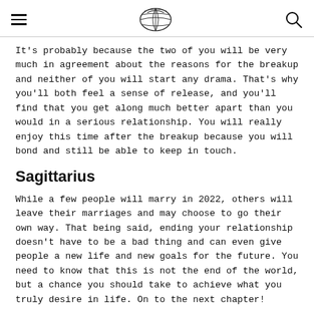[hamburger menu] [globe logo] [search icon]
It's probably because the two of you will be very much in agreement about the reasons for the breakup and neither of you will start any drama. That's why you'll both feel a sense of release, and you'll find that you get along much better apart than you would in a serious relationship. You will really enjoy this time after the breakup because you will bond and still be able to keep in touch.
Sagittarius
While a few people will marry in 2022, others will leave their marriages and may choose to go their own way. That being said, ending your relationship doesn't have to be a bad thing and can even give people a new life and new goals for the future. You need to know that this is not the end of the world, but a chance you should take to achieve what you truly desire in life. On to the next chapter!